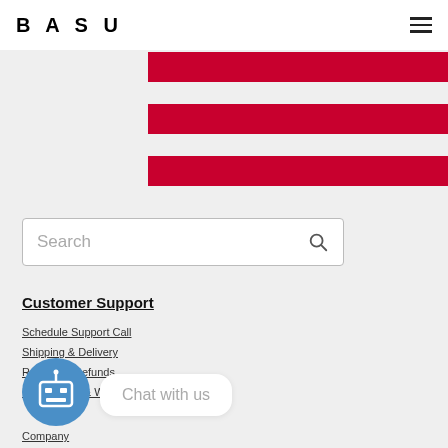BASU
[Figure (other): Three horizontal dark red/crimson stripe bars on light gray background, occupying the right portion of the header area]
[Figure (other): Search input box with placeholder text 'Search' and a magnifying glass icon on right]
Customer Support
Schedule Support Call
Shipping & Delivery
Returns & Refunds
Registration & Warranty
[Figure (other): Blue circle icon with a robot/computer face, chat widget button]
Chat with us
Company